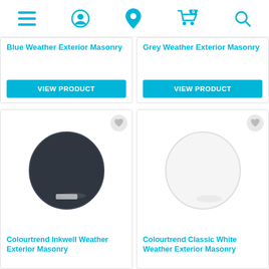navigation icons: menu, account, location, cart (0), search
Blue Weather Exterior Masonry
VIEW PRODUCT
Grey Weather Exterior Masonry
VIEW PRODUCT
[Figure (photo): Dark navy/charcoal circular paint swatch for Colourtrend Inkwell Weather Exterior Masonry]
Colourtrend Inkwell Weather Exterior Masonry
[Figure (photo): White circular paint swatch for Colourtrend Classic White Weather Exterior Masonry]
Colourtrend Classic White Weather Exterior Masonry